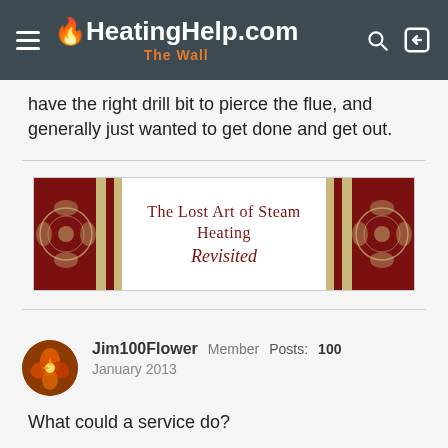HeatingHelp.com — The Wall
have the right drill bit to pierce the flue, and generally just wanted to get done and get out.
[Figure (illustration): Advertisement banner for 'The Lost Art of Steam Heating Revisited' book, featuring ornate red and gold decorative borders.]
Jim100Flower Member Posts: 100 January 2013
What could a service do?
What could a service do?